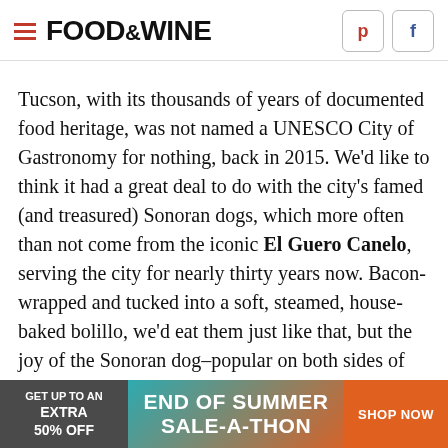FOOD & WINE
Tucson, with its thousands of years of documented food heritage, was not named a UNESCO City of Gastronomy for nothing, back in 2015. We'd like to think it had a great deal to do with the city's famed (and treasured) Sonoran dogs, which more often than not come from the iconic El Guero Canelo, serving the city for nearly thirty years now. Bacon-wrapped and tucked into a soft, steamed, house-baked bolillo, we'd eat them just like that, but the joy of the Sonoran dog–popular on both sides of the border for generations–is that there's so much more to the experience. Sometimes too much, albeit in the very best possible way: think beans, onions (raw
[Figure (infographic): Advertisement banner: GET UP TO AN EXTRA 50% OFF | END OF SUMMER SALE-A-THON | SHOP NOW]